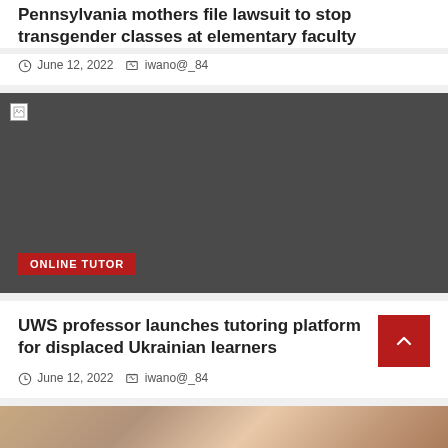Pennsylvania mothers file lawsuit to stop transgender classes at elementary faculty
June 12, 2022   iwano@_84
[Figure (photo): Dark grey placeholder image with broken image icon in top-left corner and a red 'ONLINE TUTOR' category tag overlay at bottom-left]
UWS professor launches tutoring platform for displaced Ukrainian learners
June 12, 2022   iwano@_84
[Figure (photo): Partial image visible at bottom of page, appears to show a real-world scene with warm tones]